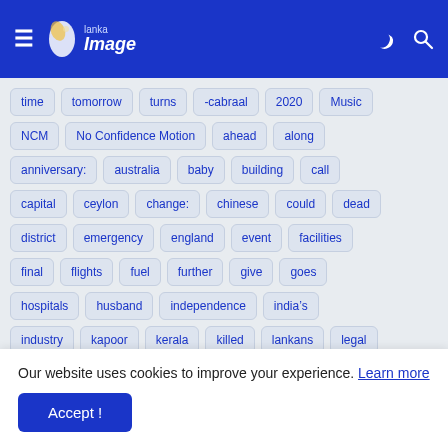Lanka Image - navigation header with hamburger menu, logo, moon icon, search icon
time
tomorrow
turns
-cabraal
2020
Music
NCM
No Confidence Motion
ahead
along
anniversary:
australia
baby
building
call
capital
ceylon
change:
chinese
could
dead
district
emergency
england
event
facilities
final
flights
fuel
further
give
goes
hospitals
husband
independence
india&#8217;s
industry
kapoor
kerala
killed
lankans
legal
Our website uses cookies to improve your experience. Learn more
Accept !